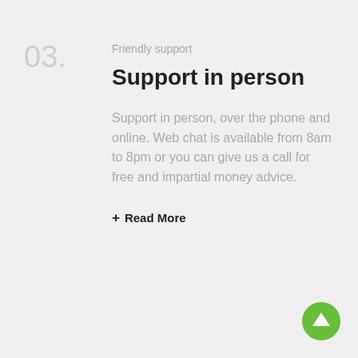03.
Friendly support
Support in person
Support in person, over the phone and online. Web chat is available from 8am to 8pm or you can give us a call for free and impartial money advice.
+ Read More
[Figure (illustration): Green circular button with white upward arrow, scroll-to-top button in bottom right corner]